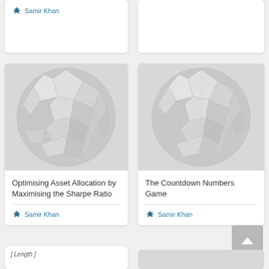Samir Khan
[Figure (illustration): Decorative globe image composed of grey geometric facets for article card: Optimising Asset Allocation by Maximising the Sharpe Ratio]
Optimising Asset Allocation by Maximising the Sharpe Ratio
Samir Khan
[Figure (illustration): Decorative globe image composed of grey geometric facets for article card: The Countdown Numbers Game]
The Countdown Numbers Game
Samir Khan